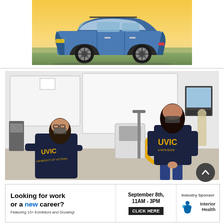[Figure (photo): Blue Subaru crossover SUV parked on a hillside at dusk/dawn with a warm yellow-orange sky backdrop]
[Figure (photo): Two students wearing UVIC hoodies and face masks in a university lab setting with medical/engineering equipment including a wheelchair and skeleton model]
[Figure (infographic): Advertisement banner: 'Looking for work or a new career? Featuring 15+ Exhibitors and Growing! September 8th, 11AM-3PM CLICK HERE Industry Sponsor Interior Health']